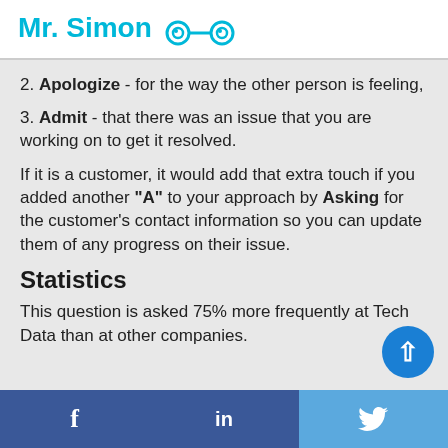Mr. Simon
2. Apologize - for the way the other person is feeling,
3. Admit - that there was an issue that you are working on to get it resolved.
If it is a customer, it would add that extra touch if you added another "A" to your approach by Asking for the customer's contact information so you can update them of any progress on their issue.
Statistics
This question is asked 75% more frequently at Tech Data than at other companies.
f   in   🐦